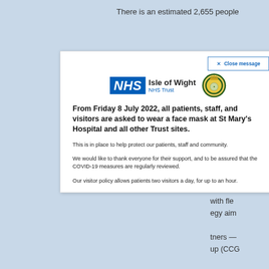There is an estimated 2,655 people …Society e…
[Figure (screenshot): NHS Isle of Wight NHS Trust modal popup with close button, NHS logo, trust badge, and face mask policy announcement text]
Close message
From Friday 8 July 2022, all patients, staff, and visitors are asked to wear a face mask at St Mary's Hospital and all other Trust sites.
This is in place to help protect our patients, staff and community.
We would like to thank everyone for their support, and to be assured that the COVID-19 measures are regularly reviewed.
Our visitor policy allows patients two visitors a day, for up to an hour.